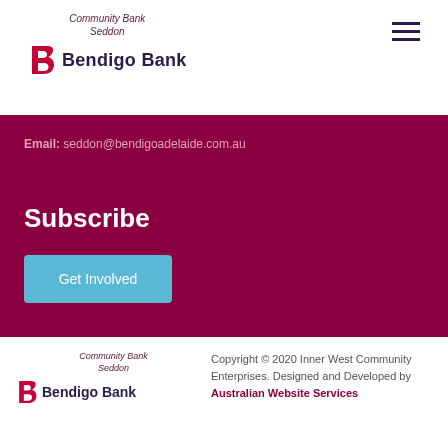Community Bank Seddon
[Figure (logo): Bendigo Bank logo with red B icon and bold dark purple text 'Bendigo Bank']
Email: seddon@bendigoadelaide.com.au
Subscribe
Get Involved
Community Bank Seddon | Bendigo Bank logo | Copyright © 2020 Inner West Community Enterprises. Designed and Developed by Australian Website Services